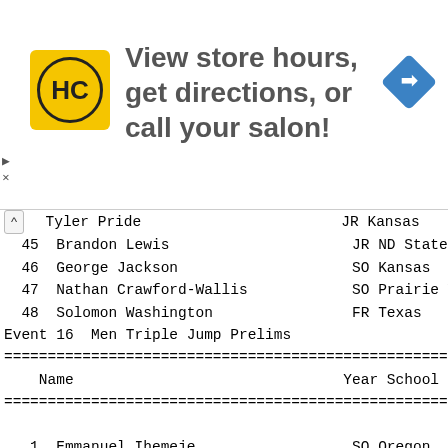[Figure (other): Advertisement banner: HC logo on yellow background, text 'View store hours, get directions, or call your salon!', navigation arrow icon on right. Small triangle and X on left edge.]
| # | Name | Year | School |
| --- | --- | --- | --- |
|  | Tyler Pride | JR | Kansas |
| 45 | Brandon Lewis | JR | ND State |
| 46 | George Jackson | SO | Kansas |
| 47 | Nathan Crawford-Wallis | SO | Prairie View |
| 48 | Solomon Washington | FR | Texas |
Event 16  Men Triple Jump Prelims
| # | Name | Year | School |
| --- | --- | --- | --- |
| 1 | Emmanuel Ihemeje | SO | Oregon |
| 2 | Chengetayi Mapaya | SR | TCU |
| 3 | Chris Welch | JR | TX Tech |
| 4 | Jalen Seals | SR | TX Tech |
| 5 | Qwazon Al-Khaliq | SR | No. Colorado |
| 6 | Jelaani Davis | JR | Oklahoma |
| 7 | Georgi Nachev | JR | Missouri |